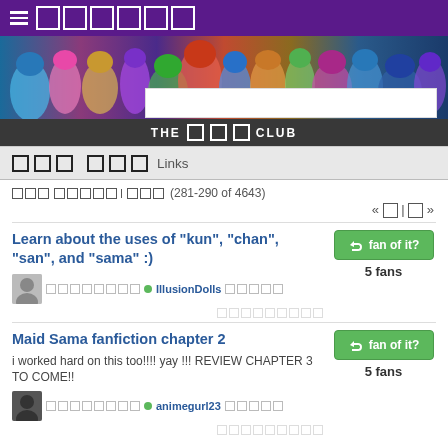☰ [nav boxes]
[Figure (screenshot): Anime club banner with colorful anime characters collage and title THE □□□ CLUB]
□□□ □□□ Links
□□□ □□□□□□□□ (281-290 of 4643)
« □ | □ »
Learn about the uses of "kun", "chan", "san", and "sama" :)
□□□□□□□□ □□□□ • IllusionDolls □□□□□
Maid Sama fanfiction chapter 2
i worked hard on this too!!!! yay !!! REVIEW CHAPTER 3 TO COME!!
□□□□□□□□ □□□□ • animegurl23 □□□□□